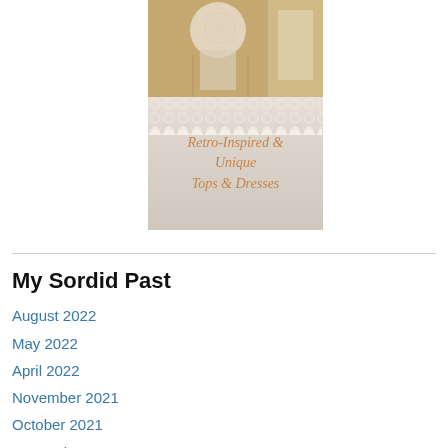[Figure (photo): A composite image showing vintage/retro lace clothing on a mannequin (top half), and a decorative doily background with script text reading 'Retro-Inspired & Unique Tops & Dresses' (bottom half).]
My Sordid Past
August 2022
May 2022
April 2022
November 2021
October 2021
September 2021
July 2021
November 2019